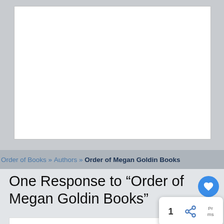[Figure (other): Top image area showing a white book cover placeholder on gray background]
Order of Books » Authors » Order of Megan Goldin Books
One Response to “Order of Megan Goldin Books”
Linda Johnson: 1 year ago
I LOVED The Escape Room. It was interesting to learn about each character and how they worked together. Of course, the best was Sara Hall's intelligence and cleverness.
Can't wait to read her other novels.